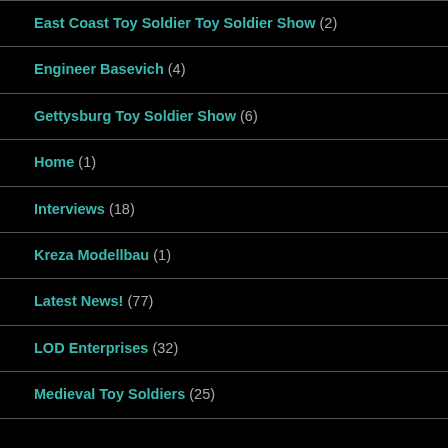East Coast Toy Soldier Toy Soldier Show (2)
Engineer Basevich (4)
Gettysburg Toy Soldier Show (6)
Home (1)
Interviews (18)
Kreza Modellbau (1)
Latest News! (77)
LOD Enterprises (32)
Medieval Toy Soldiers (25)